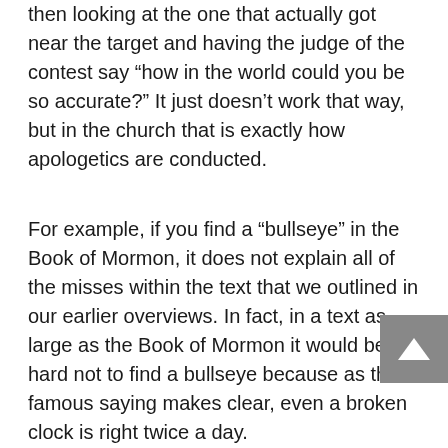then looking at the one that actually got near the target and having the judge of the contest say “how in the world could you be so accurate?” It just doesn’t work that way, but in the church that is exactly how apologetics are conducted.
For example, if you find a “bullseye” in the Book of Mormon, it does not explain all of the misses within the text that we outlined in our earlier overviews. In fact, in a text as large as the Book of Mormon it would be hard not to find a bullseye because as the famous saying makes clear, even a broken clock is right twice a day.